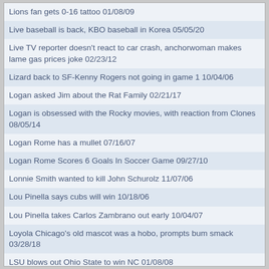Lions fan gets 0-16 tattoo 01/08/09
Live baseball is back, KBO baseball in Korea 05/05/20
Live TV reporter doesn't react to car crash, anchorwoman makes lame gas prices joke 02/23/12
Lizard back to SF-Kenny Rogers not going in game 1 10/04/06
Logan asked Jim about the Rat Family 02/21/17
Logan is obsessed with the Rocky movies, with reaction from Clones 08/05/14
Logan Rome has a mullet 07/16/07
Logan Rome Scores 6 Goals In Soccer Game 09/27/10
Lonnie Smith wanted to kill John Schurolz 11/07/06
Lou Pinella says cubs will win 10/18/06
Lou Pinella takes Carlos Zambrano out early 10/04/07
Loyola Chicago's old mascot was a hobo, prompts bum smack 03/28/18
LSU blows out Ohio State to win NC 01/08/08
LT good father reset 03/29/06
Madison Rising destroys the National Anthem at the Daytona 500 02/25/14
Madison Wisconsin has a new affiliate 01/03/07
Magic Johnson tweets that Kobe should be considered for MVP, along with 8 other players 11/06/14
Mall massages 04/21/08
Mall Take and emails 10/30/07